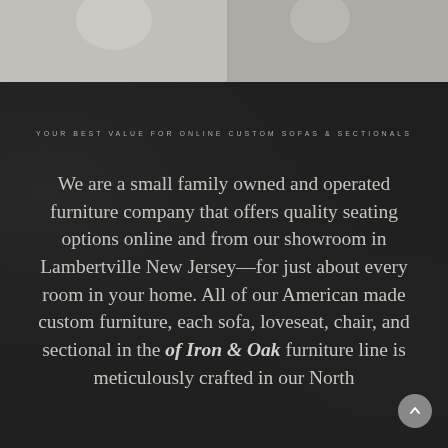[Figure (photo): Top portion of a photo showing furniture or people in a showroom, partially cropped at the top of the page]
YOUR BEST VALUE FOR ONLINE CUSTOM SOFAS & SECTIONALS
We are a small family owned and operated furniture company that offers quality seating options online and from our showroom in Lambertville New Jersey—for just about every room in your home. All of our American made custom furniture, each sofa, loveseat, chair, and sectional in the of Iron & Oak furniture line is meticulously crafted in our North